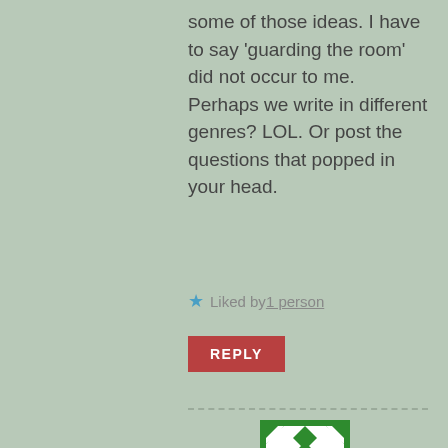some of those ideas. I have to say ‘guarding the room’ did not occur to me. Perhaps we write in different genres? LOL. Or post the questions that popped in your head.
★ Liked by 1 person
REPLY
[Figure (illustration): Green and white geometric quilt-pattern avatar icon]
Cheryl